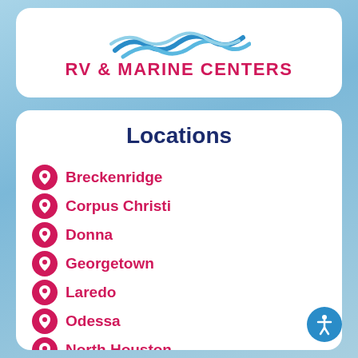[Figure (logo): RV & Marine Centers logo with wave graphic in blue and red]
Locations
Breckenridge
Corpus Christi
Donna
Georgetown
Laredo
Odessa
North Houston
Rockport
San Antonio
South Houston